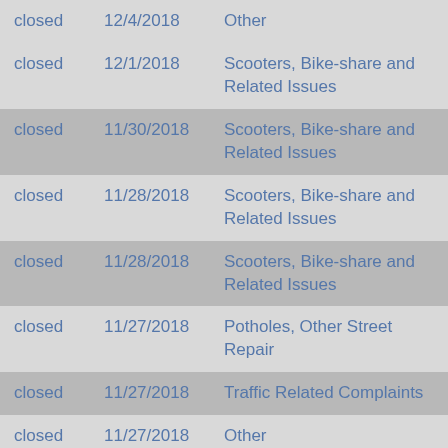| Status | Date | Category |
| --- | --- | --- |
| closed | 12/4/2018 | Other |
| closed | 12/1/2018 | Scooters, Bike-share and Related Issues |
| closed | 11/30/2018 | Scooters, Bike-share and Related Issues |
| closed | 11/28/2018 | Scooters, Bike-share and Related Issues |
| closed | 11/28/2018 | Scooters, Bike-share and Related Issues |
| closed | 11/27/2018 | Potholes, Other Street Repair |
| closed | 11/27/2018 | Traffic Related Complaints |
| closed | 11/27/2018 | Other |
| closed | 11/26/2018 | Trash |
| closed | 11/24/2018 | Potholes, Other Street Repair |
| closed | 11/23/2018 | Traffic Signals |